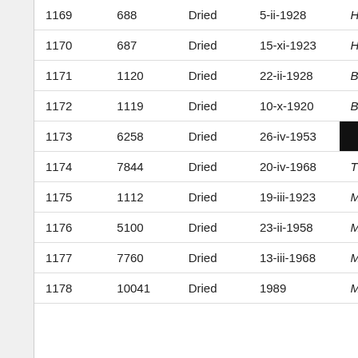|  |  |  |  |  |
| --- | --- | --- | --- | --- |
| 1169 | 688 | Dried | 5-ii-1928 | H |
| 1170 | 687 | Dried | 15-xi-1923 | H |
| 1171 | 1120 | Dried | 22-ii-1928 | B |
| 1172 | 1119 | Dried | 10-x-1920 | B |
| 1173 | 6258 | Dried | 26-iv-1953 |  |
| 1174 | 7844 | Dried | 20-iv-1968 | T |
| 1175 | 1112 | Dried | 19-iii-1923 | M |
| 1176 | 5100 | Dried | 23-ii-1958 | M |
| 1177 | 7760 | Dried | 13-iii-1968 | M |
| 1178 | 10041 | Dried | 1989 | M |